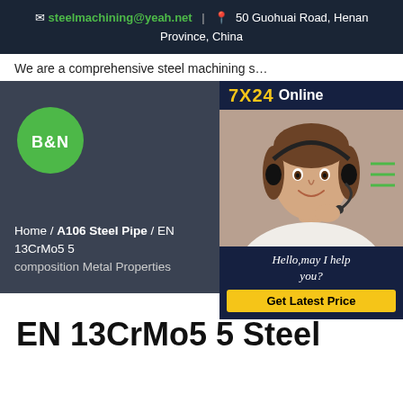steelmachining@yeah.net | 50 Guohuai Road, Henan Province, China
We are a comprehensive steel machining s...
[Figure (logo): B&N logo — green circle with white bold text B&N]
[Figure (infographic): 7X24 Online chat widget with customer service representative photo, Hello may I help you? text, and Get Latest Price button]
Home / A106 Steel Pipe / EN 13CrMo5 5 composition Metal Properties
EN 13CrMo5 5 Steel